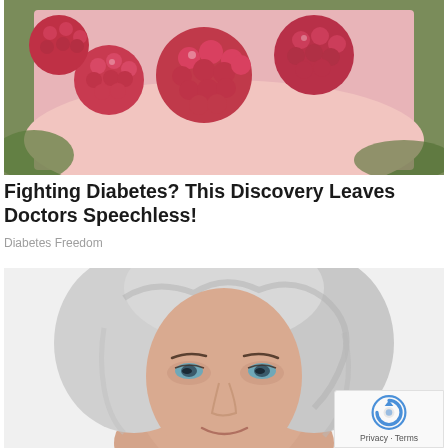[Figure (photo): Close-up photo of a person's hand holding fresh red raspberries]
Fighting Diabetes? This Discovery Leaves Doctors Speechless!
Diabetes Freedom
[Figure (photo): Portrait photo of an older woman with silver/white hair looking upward, against a white background. A reCAPTCHA badge with Privacy and Terms links is visible in the bottom-right corner.]